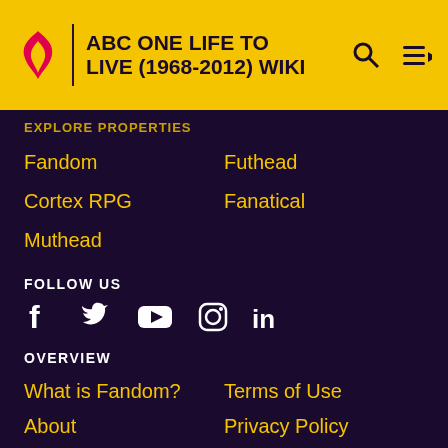ABC ONE LIFE TO LIVE (1968-2012) WIKI
EXPLORE PROPERTIES
Fandom
Futhead
Cortex RPG
Fanatical
Muthead
FOLLOW US
[Figure (infographic): Social media icons: Facebook, Twitter, YouTube, Instagram, LinkedIn]
OVERVIEW
What is Fandom?
Terms of Use
About
Privacy Policy
Careers
Global Sitemap